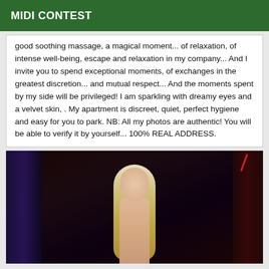MIDI CONTEST
good soothing massage, a magical moment... of relaxation, of intense well-being, escape and relaxation in my company... And I invite you to spend exceptional moments, of exchanges in the greatest discretion... and mutual respect... And the moments spent by my side will be privileged! I am sparkling with dreamy eyes and a velvet skin, . My apartment is discreet, quiet, perfect hygiene and easy for you to park. NB: All my photos are authentic! You will be able to verify it by yourself... 100% REAL ADDRESS.
[Figure (photo): A blonde woman photographed in a dimly lit setting with dark curtains in the background, shot from a side/front angle]